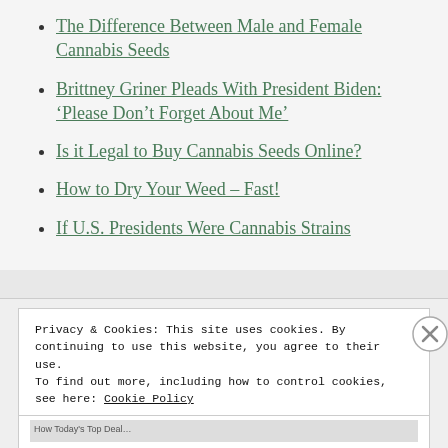The Difference Between Male and Female Cannabis Seeds
Brittney Griner Pleads With President Biden: ‘Please Don’t Forget About Me’
Is it Legal to Buy Cannabis Seeds Online?
How to Dry Your Weed – Fast!
If U.S. Presidents Were Cannabis Strains
Privacy & Cookies: This site uses cookies. By continuing to use this website, you agree to their use. To find out more, including how to control cookies, see here: Cookie Policy
Close and accept